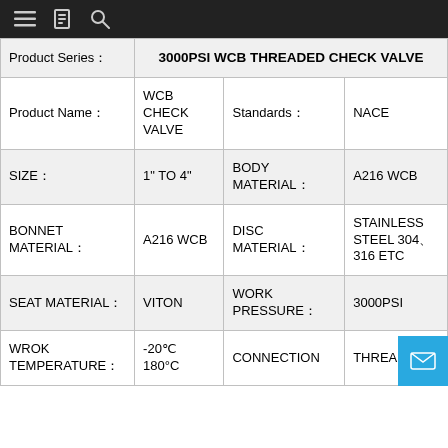Navigation bar with menu, document, and search icons
| Product Series | 3000PSI WCB THREADED CHECK VALVE |
| --- | --- |
| Product Name | WCB CHECK VALVE | Standards | NACE |
| SIZE | 1" TO 4" | BODY MATERIAL | A216 WCB |
| BONNET MATERIAL | A216 WCB | DISC MATERIAL | STAINLESS STEEL 304 316 ETC |
| SEAT MATERIAL | VITON | WORK PRESSURE | 3000PSI |
| WROK TEMPERATURE | -20 180°C | CONNECTION | THREADED |